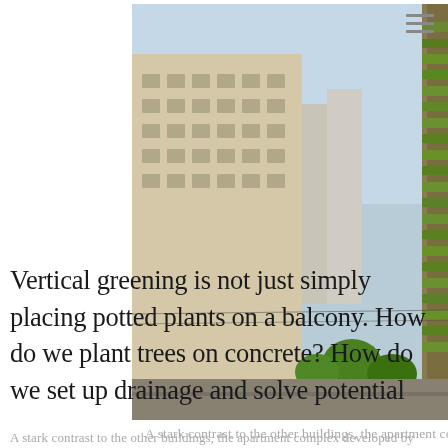[Figure (photo): Aerial/street-level view of a green apartment tower covered in plants and trees on balconies, surrounded by conventional urban high-rise buildings in a Chinese city.]
A stark contrast to the other buildings, the apartment complex developed by Banmu Tang aims to surround its residents with greenery. (Photo provided by Banmu Tang)
Vertical greening is not just simply placing potted plants on a balcony. How do we plant trees on concrete? How do we set up drainage and solve potential